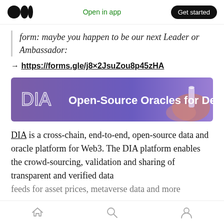Medium – Open in app | Get started
form: maybe you happen to be our next Leader or Ambassador:
→ https://forms.gle/j8×2JsuZou8p45zHA
[Figure (infographic): DIA banner – Open-Source Oracles for DeFi]
DIA is a cross-chain, end-to-end, open-source data and oracle platform for Web3. The DIA platform enables the crowd-sourcing, validation and sharing of transparent and verified data feeds for asset prices, metaverse data and more
Home | Search | Profile icons